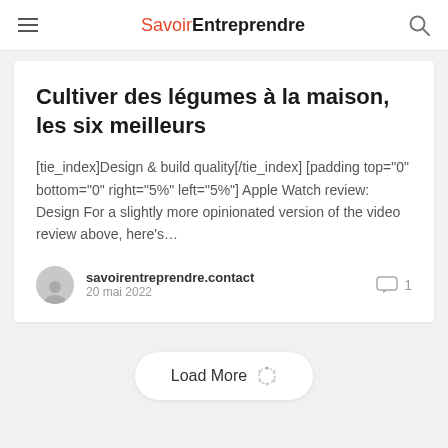Savoir Entreprendre
Cultiver des légumes à la maison, les six meilleurs
[tie_index]Design & build quality[/tie_index] [padding top="0" bottom="0" right="5%" left="5%"] Apple Watch review: Design For a slightly more opinionated version of the video review above, here's…
savoirentreprendre.contact
20 mai 2022
Load More